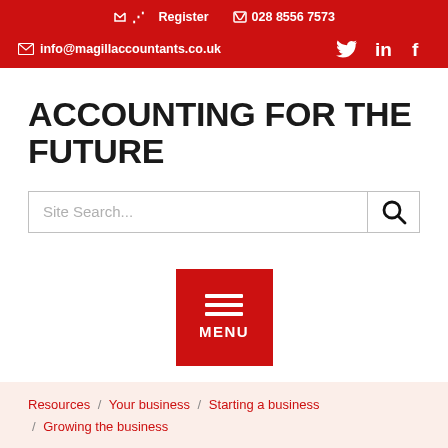Register  028 8556 7573
info@magillaccountants.co.uk
ACCOUNTING FOR THE FUTURE
Site Search...
[Figure (other): Red MENU button with three horizontal lines hamburger icon]
Resources / Your business / Starting a business / Growing the business